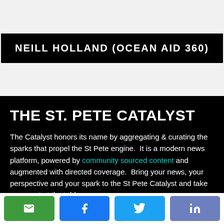NEILL HOLLAND (OCEAN AID 360)
THE ST. PETE CATALYST
The Catalyst honors its name by aggregating & curating the sparks that propel the St Pete engine.  It is a modern news platform, powered by community sourced content and augmented with directed coverage.  Bring your news, your perspective and your spark to the St Pete Catalyst and take your seat at the table.